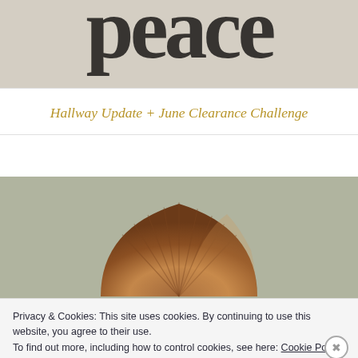[Figure (photo): Cropped bottom portion of a decorative sign showing large distressed serif text spelling 'peace' on a beige/tan background]
Hallway Update + June Clearance Challenge
[Figure (photo): Photo of a wooden fan/shell shaped decorative object against a gray-green wall]
Privacy & Cookies: This site uses cookies. By continuing to use this website, you agree to their use.
To find out more, including how to control cookies, see here: Cookie Policy
Close and accept